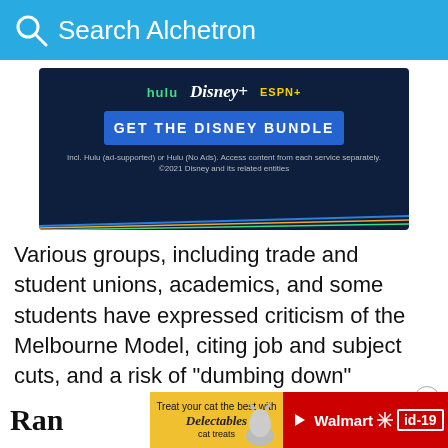Search Alchetron
[Figure (screenshot): Disney Bundle advertisement showing Hulu, Disney+, and ESPN+ logos with 'GET THE DISNEY BUNDLE' button on dark navy background. Text: Incl. Hulu (ad-supported) or Hulu (No Ads). Access content from each service separately. ©2021 Disney and its related entities]
Various groups, including trade and student unions, academics, and some students have expressed criticism of the Melbourne Model, citing job and subject cuts, and a risk of "dumbing down" content. A group of students also produced a satirical musical regarding the matter.
[Figure (screenshot): Bottom advertisement bar showing 'Ran' text on left, Delectables cat treats ad in center with cat image, and Walmart id-19 badge on red background on right]